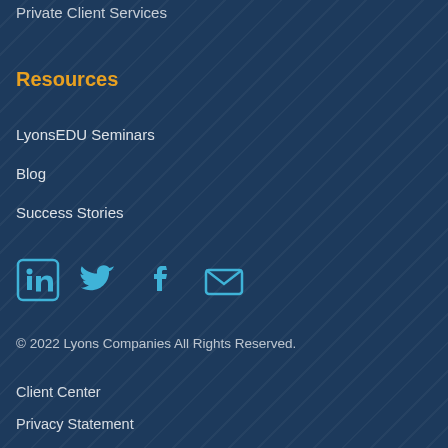Private Client Services
Resources
LyonsEDU Seminars
Blog
Success Stories
[Figure (infographic): Social media icons: LinkedIn, Twitter, Facebook, Email]
© 2022 Lyons Companies All Rights Reserved.
Client Center
Privacy Statement